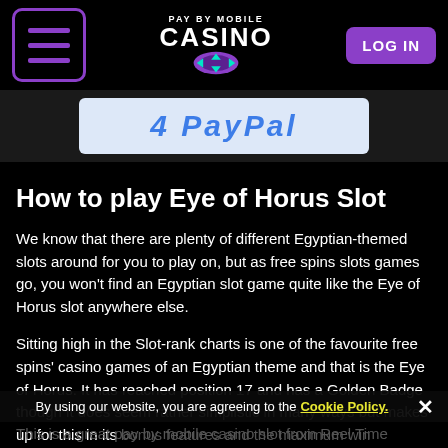Pay By Mobile Casino — LOG IN
[Figure (screenshot): Blue banner image with stylized slot/paypal text on light blue background]
How to play Eye of Horus Slot
We know that there are plenty of different Egyptian-themed slots around for you to play on, but as free spins slots games go, you won't find an Egyptian slot game quite like the Eye of Horus slot anywhere else.
Sitting high in the Slot-rank charts is one of the favourite free spins' casino games of an Egyptian theme and that is the Eye of Horus. It has reached position 17 and has a Golden Badge though it does seem rather simplistic in many ways but makes up for this in its bonus features and the maximum win available.
This is a great pay by mobile casino slot from Reel Time
By using our website, you are agreeing to the Cookie Policy. ✕